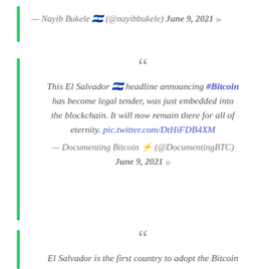— Nayib Bukele 🇸🇻 (@nayibbukele) June 9, 2021 »
" This El Salvador 🇸🇻 headline announcing #Bitcoin has become legal tender, was just embedded into the blockchain. It will now remain there for all of eternity. pic.twitter.com/DtHiFDB4XM — Documenting Bitcoin ⚡ (@DocumentingBTC) June 9, 2021 »
" El Salvador is the first country to adopt the Bitcoin